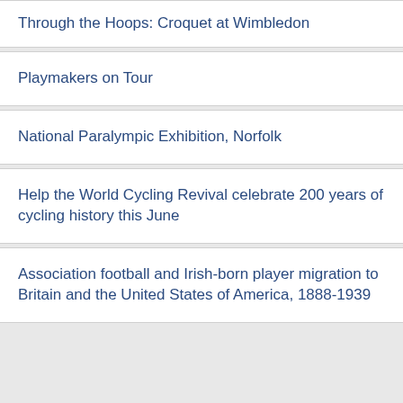Through the Hoops: Croquet at Wimbledon
Playmakers on Tour
National Paralympic Exhibition, Norfolk
Help the World Cycling Revival celebrate 200 years of cycling history this June
Association football and Irish-born player migration to Britain and the United States of America, 1888-1939